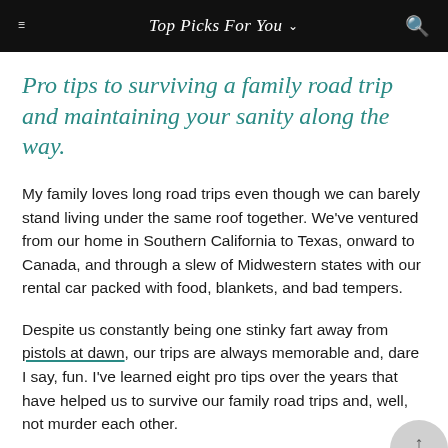Top Picks For You
Pro tips to surviving a family road trip and maintaining your sanity along the way.
My family loves long road trips even though we can barely stand living under the same roof together. We've ventured from our home in Southern California to Texas, onward to Canada, and through a slew of Midwestern states with our rental car packed with food, blankets, and bad tempers.
Despite us constantly being one stinky fart away from pistols at dawn, our trips are always memorable and, dare I say, fun. I've learned eight pro tips over the years that have helped us to survive our family road trips and, well, not murder each other.